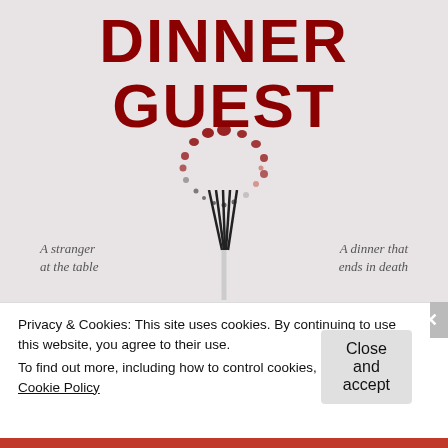[Figure (illustration): Book cover image for 'Dinner Guest' showing the title in large dark red bold text at top, a circular dot pattern in the middle (resembling a plate/wreath made of red and dark dots), a fork graphic below it, and two italic taglines: 'A stranger at the table' on the left and 'A dinner that ends in death' on the right. Background is light pinkish-grey.]
Privacy & Cookies: This site uses cookies. By continuing to use this website, you agree to their use.
To find out more, including how to control cookies, see here: Cookie Policy
Close and accept